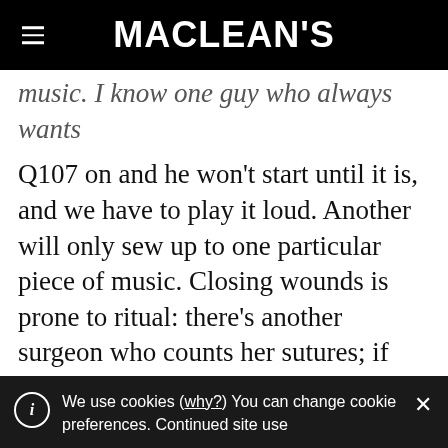MACLEAN'S
music. I know one guy who always wants Q107 on and he won't start until it is, and we have to play it loud. Another will only sew up to one particular piece of music. Closing wounds is prone to ritual: there's another surgeon who counts her sutures; if she ends on 13, she either takes one out or adds a 14th. During the operation we discuss normal things. Not to say that we're not serious, because things can happen, but everybody is highly trained and everybody's
We use cookies (why?) You can change cookie preferences. Continued site use